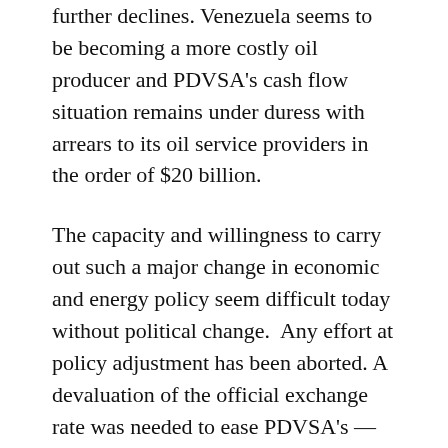further declines. Venezuela seems to be becoming a more costly oil producer and PDVSA's cash flow situation remains under duress with arrears to its oil service providers in the order of $20 billion.
The capacity and willingness to carry out such a major change in economic and energy policy seem difficult today without political change.  Any effort at policy adjustment has been aborted. A devaluation of the official exchange rate was needed to ease PDVSA's —and the government's—fiscal situation, along with a major adjustment of gasoline prices. At four cents per gallon, gasoline